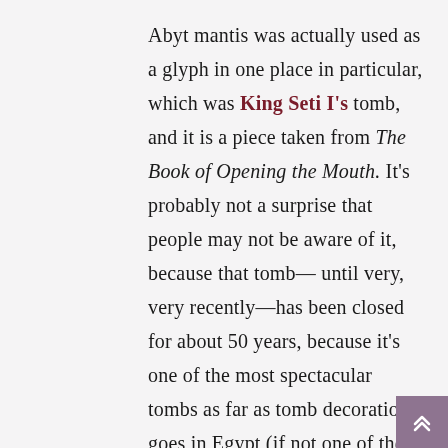Abyt mantis was actually used as a glyph in one place in particular, which was King Seti I's tomb, and it is a piece taken from The Book of Opening the Mouth. It's probably not a surprise that people may not be aware of it, because that tomb—until very, very recently—has been closed for about 50 years, because it's one of the most spectacular tombs as far as tomb decoration goes in Egypt (if not one of the most), and it was deteriorating very badly. So the Ministry of Antiquities closed it permanently, but then they reopened it within the last 18 months—very, very recently they've reopened it. And this particular line that features the mantis—